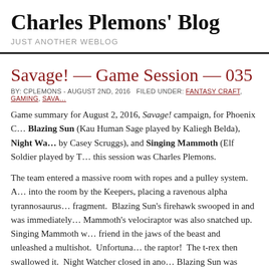Charles Plemons' Blog
JUST ANOTHER WEBLOG
Savage! — Game Session — 035
BY: CPLEMONS - AUGUST 2ND, 2016   FILED UNDER: FANTASY CRAFT, GAMING, SAVA…
Game summary for August 2, 2016, Savage! campaign, for Phoenix C… Blazing Sun (Kau Human Sage played by Kaliegh Belda), Night Wa… by Casey Scruggs), and Singing Mammoth (Elf Soldier played by T… this session was Charles Plemons.
The team entered a massive room with ropes and a pulley system. A… into the room by the Keepers, placing a ravenous alpha tyrannosaurus… fragment. Blazing Sun's firehawk swooped in and was immediately… Mammoth's velociraptor was also snatched up. Singing Mammoth w… friend in the jaws of the beast and unleashed a multishot. Unfortuna… the raptor! The t-rex then swallowed it. Night Watcher closed in ano… Blazing Sun was outraged about her firehawk and leapt into action. S… of the dinosaur, killing it instantly! The team put their companions…